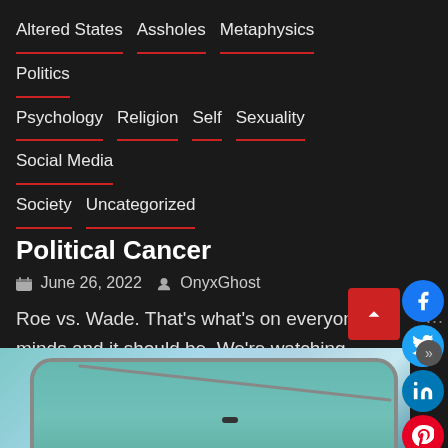Altered States  Assholes  Metaphysics  Politics  Psychology  Religion  Self  Sexuality  Social Media  Society  Uncategorized
Political Cancer
June 26, 2022   OnyxGhost
Roe vs. Wade. That's what's on everyone's minds and it should be. We're watching vulgar displays of abuse of power shred our country's muscle down
Read More
[Figure (photo): Bottom portion of a smartphone with green/teal back, silver frame, small front camera cutout, photographed against a light blue sky background]